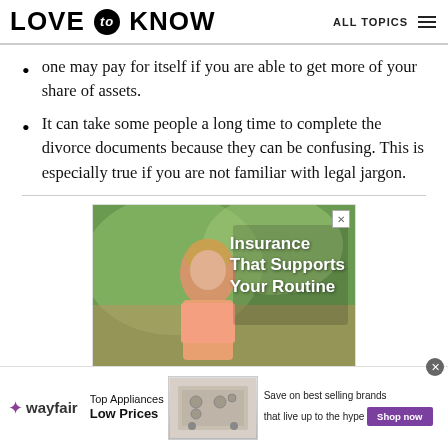LOVE to KNOW  ALL TOPICS
one may pay for itself if you are able to get more of your share of assets.
It can take some people a long time to complete the divorce documents because they can be confusing. This is especially true if you are not familiar with legal jargon.
[Figure (photo): Advertisement banner showing a woman outdoors with text 'Insurance That Supports Your Routine']
[Figure (photo): Wayfair advertisement banner: Top Appliances Low Prices, Save on best selling brands that live up to the hype, Shop now button]